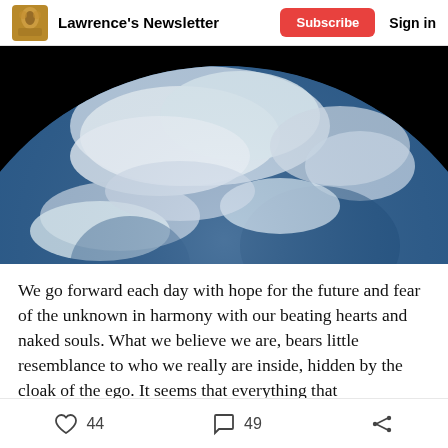Lawrence's Newsletter  Subscribe  Sign in
[Figure (photo): Photograph of Earth from space against a black background, showing the globe with blue oceans, white cloud formations, and partial landmass visible at the bottom. The image is cropped so only the upper portion of the Earth is visible.]
We go forward each day with hope for the future and fear of the unknown in harmony with our beating hearts and naked souls. What we believe we are, bears little resemblance to who we really are inside, hidden by the cloak of the ego. It seems that everything that
44  49